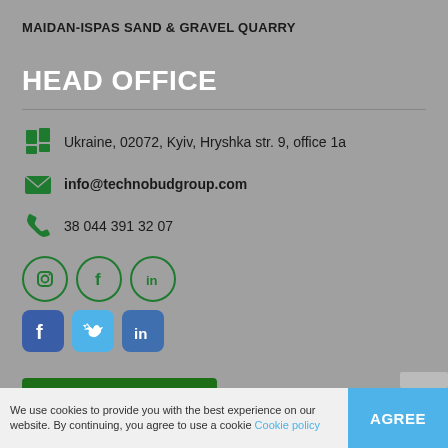MAIDAN-ISPAS SAND & GRAVEL QUARRY
HEAD OFFICE
Ukraine, 02072, Kyiv, Hryshka str. 9, office 1a
info@technobudgroup.com
38 044 391 32 07
[Figure (illustration): Two rows of social media icons: top row shows Instagram, Facebook, LinkedIn as green outline circles; bottom row shows Facebook, Twitter, LinkedIn as solid colored squares/rounded squares]
Send request
We use cookies to provide you with the best experience on our website. By continuing, you agree to use a cookie Cookie policy